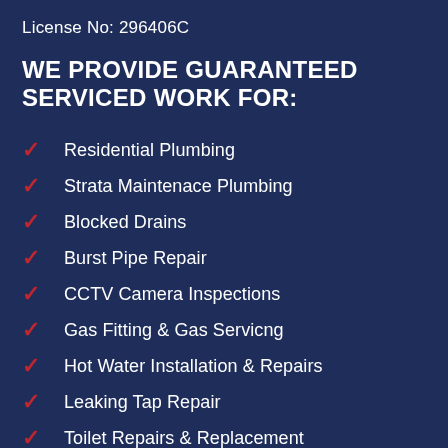License No: 296406C
WE PROVIDE GUARANTEED SERVICED WORK FOR:
Residential Plumbing
Strata Maintenace Plumbing
Blocked Drains
Burst Pipe Repair
CCTV Camera Inspections
Gas Fitting & Gas Servicng
Hot Water Installation & Repairs
Leaking Tap Repair
Toilet Repairs & Replacement
Emergency Plumbing Services
Roofing